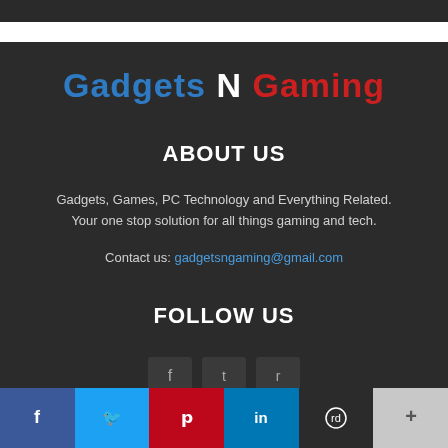Gadgets N Gaming
ABOUT US
Gadgets, Games, PC Technology and Everything Related. Your one stop solution for all things gaming and tech.
Contact us: gadgetsngaming@gmail.com
FOLLOW US
[Figure (other): Three social media icon boxes partially visible]
f  (twitter)  (pinterest)  in  (reddit)  +